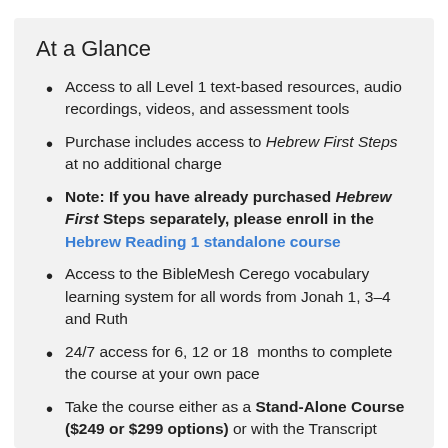At a Glance
Access to all Level 1 text-based resources, audio recordings, videos, and assessment tools
Purchase includes access to Hebrew First Steps at no additional charge
Note: If you have already purchased Hebrew First Steps separately, please enroll in the Hebrew Reading 1 standalone course
Access to the BibleMesh Cerego vocabulary learning system for all words from Jonah 1, 3–4 and Ruth
24/7 access for 6, 12 or 18 months to complete the course at your own pace
Take the course either as a Stand-Alone Course ($249 or $299 options) or with the Transcript